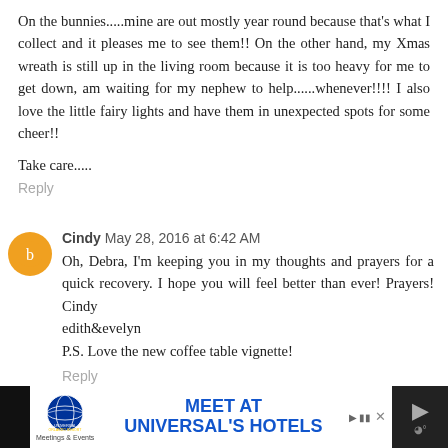On the bunnies.....mine are out mostly year round because that's what I collect and it pleases me to see them!! On the other hand, my Xmas wreath is still up in the living room because it is too heavy for me to get down, am waiting for my nephew to help......whenever!!!! I also love the little fairy lights and have them in unexpected spots for some cheer!!
Take care.....
Reply
Cindy May 28, 2016 at 6:42 AM
Oh, Debra, I'm keeping you in my thoughts and prayers for a quick recovery. I hope you will feel better than ever! Prayers! Cindy
edith&evelyn
P.S. Love the new coffee table vignette!
Reply
[Figure (infographic): Advertisement banner for Universal Orlando Resort - Meet at Universal's Hotels, Meetings & Events]